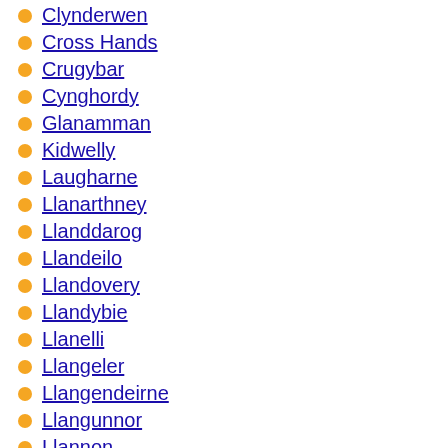Clynderwen
Cross Hands
Crugybar
Cynghordy
Glanamman
Kidwelly
Laugharne
Llanarthney
Llanddarog
Llandeilo
Llandovery
Llandybie
Llanelli
Llangeler
Llangendeirne
Llangunnor
Llannon
Llansawel
Llansteffan
Llanwrda
Llanybydder